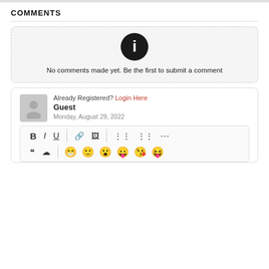COMMENTS
No comments made yet. Be the first to submit a comment
Already Registered? Login Here
Guest
Monday, August 29, 2022